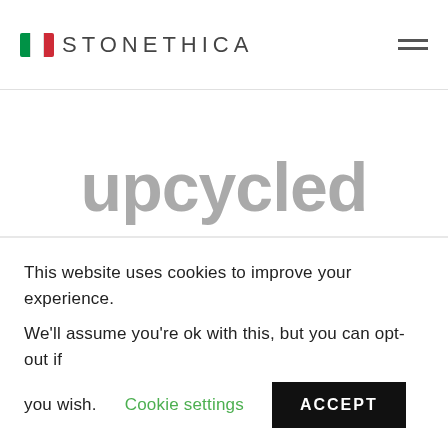STONETHICA
upcycled content
👉 Marble slab =
This website uses cookies to improve your experience.
We'll assume you're ok with this, but you can opt-out if you wish.
Cookie settings  ACCEPT